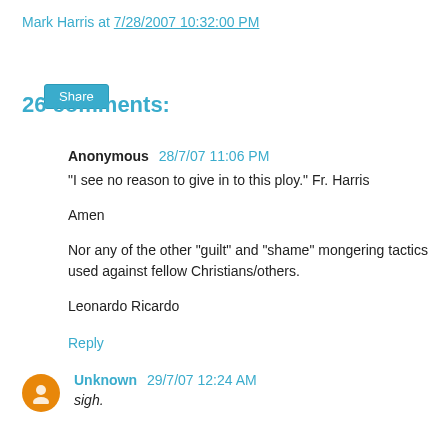Mark Harris at 7/28/2007 10:32:00 PM
Share
26 comments:
Anonymous 28/7/07 11:06 PM
"I see no reason to give in to this ploy." Fr. Harris

Amen

Nor any of the other "guilt" and "shame" mongering tactics used against fellow Christians/others.

Leonardo Ricardo
Reply
Unknown 29/7/07 12:24 AM
sigh.